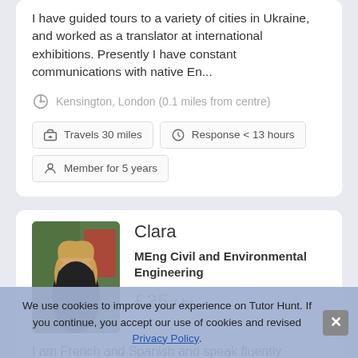I have guided tours to a variety of cities in Ukraine, and worked as a translator at international exhibitions. Presently I have constant communications with native En...
Kensington, London (0.1 miles from centre)
Travels 30 miles
Response < 13 hours
Member for 5 years
Clara
MEng Civil and Environmental Engineering
£25 / hr
I am French and Spanish and speak fluently French,
We use cookies to improve your experience on Tutor Hunt. If you continue, you accept our use of cookies and revised Privacy Policy.